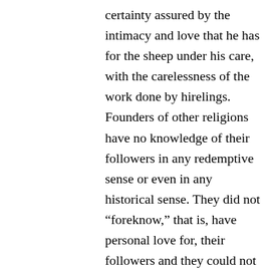certainty assured by the intimacy and love that he has for the sheep under his care, with the carelessness of the work done by hirelings. Founders of other religions have no knowledge of their followers in any redemptive sense or even in any historical sense. They did not “foreknow,” that is, have personal love for, their followers and they could not claim to know any of them by name. Nor do they lay down their lives to make them their subjects. They have no power to protect, nor any long-term commitment to intervene for their benefit and preserve them